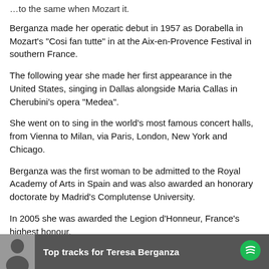…to the same when Mozart it.
Berganza made her operatic debut in 1957 as Dorabella in Mozart's "Cosi fan tutte" in at the Aix-en-Provence Festival in southern France.
The following year she made her first appearance in the United States, singing in Dallas alongside Maria Callas in Cherubini's opera "Medea".
She went on to sing in the world's most famous concert halls, from Vienna to Milan, via Paris, London, New York and Chicago.
Berganza was the first woman to be admitted to the Royal Academy of Arts in Spain and was also awarded an honorary doctorate by Madrid's Complutense University.
In 2005 she was awarded the Legion d'Honneur, France's highest honour.
[Figure (other): Spotify banner showing 'Top tracks for Teresa Berganza' with a thumbnail photo and Spotify logo]